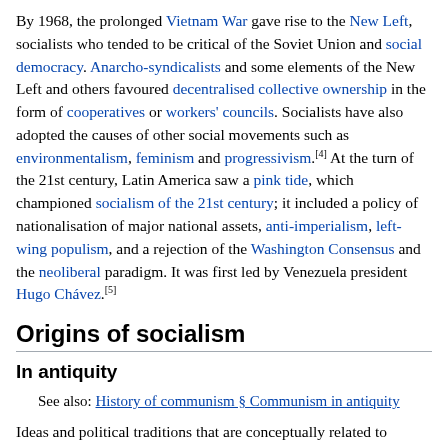By 1968, the prolonged Vietnam War gave rise to the New Left, socialists who tended to be critical of the Soviet Union and social democracy. Anarcho-syndicalists and some elements of the New Left and others favoured decentralised collective ownership in the form of cooperatives or workers' councils. Socialists have also adopted the causes of other social movements such as environmentalism, feminism and progressivism.[4] At the turn of the 21st century, Latin America saw a pink tide, which championed socialism of the 21st century; it included a policy of nationalisation of major national assets, anti-imperialism, left-wing populism, and a rejection of the Washington Consensus and the neoliberal paradigm. It was first led by Venezuela president Hugo Chávez.[5]
Origins of socialism
In antiquity
See also: History of communism § Communism in antiquity
Ideas and political traditions that are conceptually related to modern socialism have their origins in antiquity and the Middle Ages.[6] Ancient Egypt had a strong, unified, theocratic state